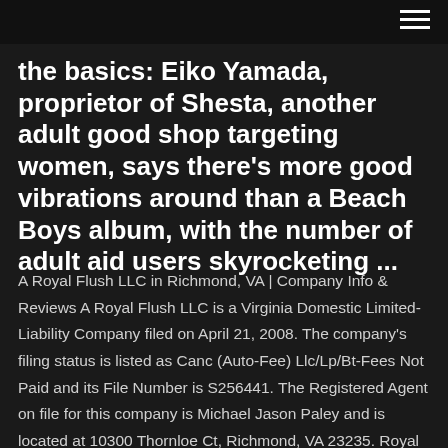the basics: Eiko Yamada, proprietor of Shesta, another adult good shop targeting women, says there's more good vibrations around than a Beach Boys album, with the number of adult aid users skyrocketing ...
A Royal Flush LLC in Richmond, VA | Company Info & Reviews A Royal Flush LLC is a Virginia Domestic Limited-Liability Company filed on April 21, 2008. The company's filing status is listed as Canc (Auto-Fee) Llc/Lp/Bt-Fees Not Paid and its File Number is S256441. The Registered Agent on file for this company is Michael Jason Paley and is located at 10300 Thornloe Ct, Richmond, VA 23235. Royal Flush in Richmond | Royal Flush 2500 Turner Rd Find Royal Flush in Richmond with Address, Phone number from Yahoo